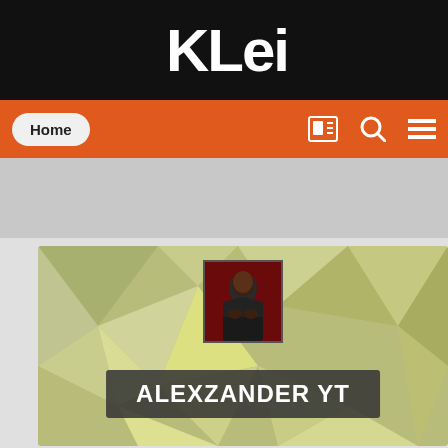KLei
Home
[Figure (screenshot): Profile banner for user ALEXZANDER YT with polygon background, avatar photo, and username overlay]
ALEXZANDER YT
CONTENT COUNT
87